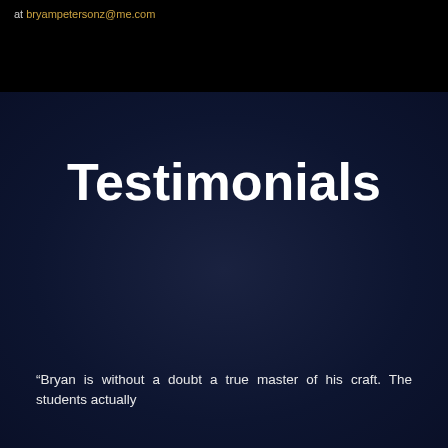at bryampetersonz@me.com
Testimonials
“Bryan is without a doubt a true master of his craft. The students actually